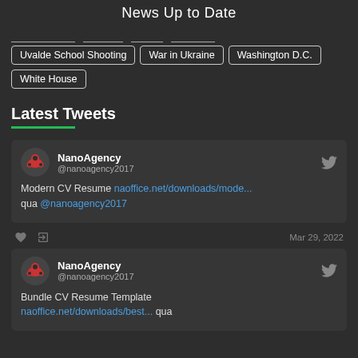News Up to Date
Uvalde School Shooting
War in Ukraine
Washington D.C.
White House
Latest Tweets
NanoAgency @nanoagency2017 Modern CV Resume naoffice.net/downloads/mode... qua @nanoagency2017
Mar 29, 2022
NanoAgency @nanoagency2017 Bundle CV Resume Template naoffice.net/downloads/best... qua